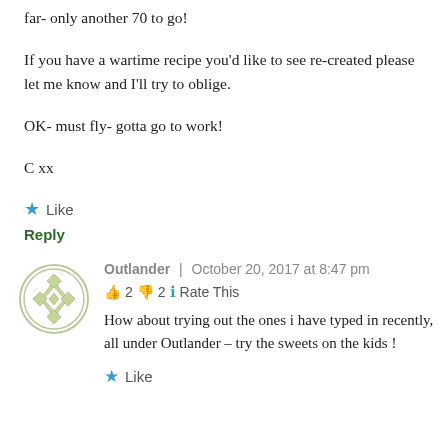far- only another 70 to go!
If you have a wartime recipe you'd like to see re-created please let me know and I'll try to oblige.
OK- must fly- gotta go to work!
C xx
★ Like
Reply
[Figure (illustration): Circular avatar with geometric diamond/lattice pattern in olive green and white]
Outlander | October 20, 2017 at 8:47 pm
👍 2 👎 2 ℹ Rate This
How about trying out the ones i have typed in recently, all under Outlander – try the sweets on the kids !
★ Like